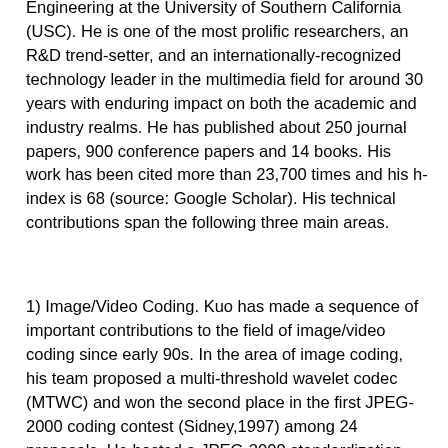Engineering at the University of Southern California (USC). He is one of the most prolific researchers, an R&D trend-setter, and an internationally-recognized technology leader in the multimedia field for around 30 years with enduring impact on both the academic and industry realms. He has published about 250 journal papers, 900 conference papers and 14 books. His work has been cited more than 23,700 times and his h-index is 68 (source: Google Scholar). His technical contributions span the following three main areas.
1) Image/Video Coding. Kuo has made a sequence of important contributions to the field of image/video coding since early 90s. In the area of image coding, his team proposed a multi-threshold wavelet codec (MTWC) and won the second place in the first JPEG-2000 coding contest (Sidney,1997) among 24 proposals. He hosted a JPEG-2000 standardization meeting in Los Angeles in 1998. In the area of video coding, he has made